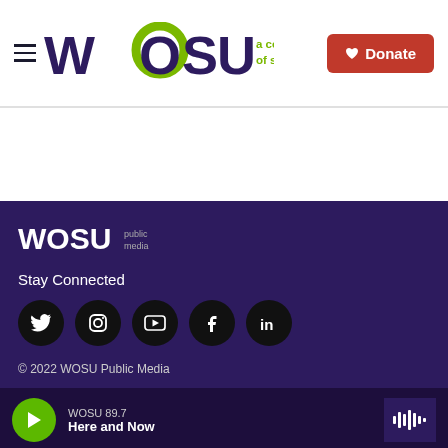WOSU a century of service | Donate
[Figure (logo): WOSU public media logo in footer]
Stay Connected
[Figure (infographic): Social media icons: Twitter, Instagram, YouTube, Facebook, LinkedIn]
© 2022 WOSU Public Media
WOSU 89.7 | Here and Now